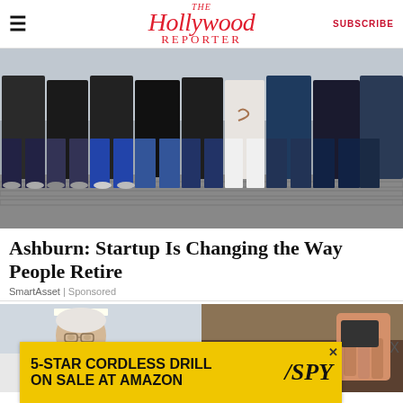The Hollywood Reporter | SUBSCRIBE
[Figure (photo): Group of people standing together outdoors on cobblestone surface, showing bodies from waist down, wearing casual dark clothes]
Ashburn: Startup Is Changing the Way People Retire
SmartAsset | Sponsored
[Figure (photo): Two thumbnail photos side by side: left shows an elderly man in a medical/office setting, right shows a close-up of food being prepared]
[Figure (photo): Banner advertisement: 5-STAR CORDLESS DRILL ON SALE AT AMAZON — SPY]